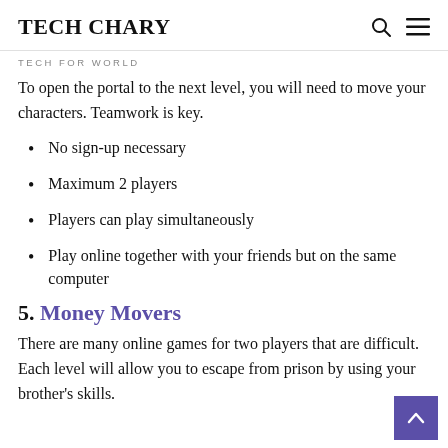TECH CHARY
TECH FOR WORLD
To open the portal to the next level, you will need to move your characters. Teamwork is key.
No sign-up necessary
Maximum 2 players
Players can play simultaneously
Play online together with your friends but on the same computer
5. Money Movers
There are many online games for two players that are difficult. Each level will allow you to escape from prison by using your brother's skills.